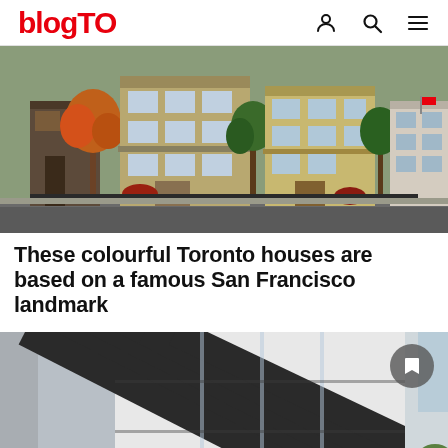blogTO
[Figure (photo): Row of colourful multi-storey townhouses with trees in autumn foliage along a street]
These colourful Toronto houses are based on a famous San Francisco landmark
[Figure (photo): Modern high-rise building with diagonal black-and-white striped facade, partially shown with bookmark icon overlay]